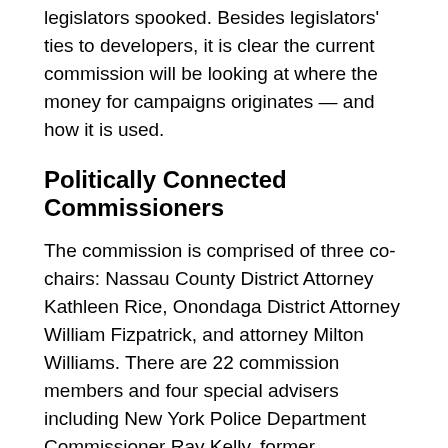legislators spooked. Besides legislators' ties to developers, it is clear the current commission will be looking at where the money for campaigns originates — and how it is used.
Politically Connected Commissioners
The commission is comprised of three co-chairs: Nassau County District Attorney Kathleen Rice, Onondaga District Attorney William Fizpatrick, and attorney Milton Williams. There are 22 commission members and four special advisers including New York Police Department Commissioner Ray Kelly, former Manhattan District Attorney Robert Morgenthau and Joseph D' Amico, superintendent of the state police.
It's worth noting that many of the members are Cuomo and Schneiderman allies. A number of those allies are also elected officials who participate in the very campaign finance system they have been tasked with